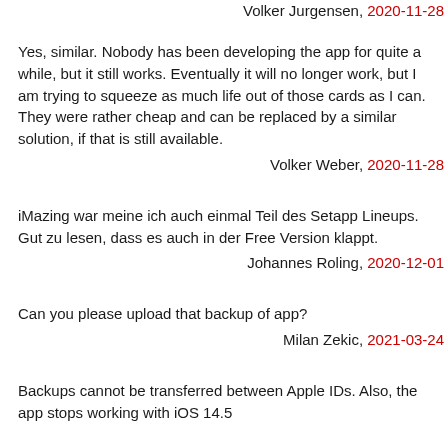Volker Jurgensen, 2020-11-28
Yes, similar. Nobody has been developing the app for quite a while, but it still works. Eventually it will no longer work, but I am trying to squeeze as much life out of those cards as I can. They were rather cheap and can be replaced by a similar solution, if that is still available.
Volker Weber, 2020-11-28
iMazing war meine ich auch einmal Teil des Setapp Lineups. Gut zu lesen, dass es auch in der Free Version klappt.
Johannes Roling, 2020-12-01
Can you please upload that backup of app?
Milan Zekic, 2021-03-24
Backups cannot be transferred between Apple IDs. Also, the app stops working with iOS 14.5